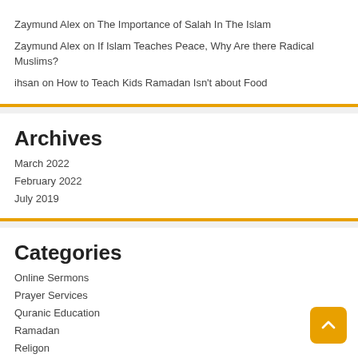Zaymund Alex on The Importance of Salah In The Islam
Zaymund Alex on If Islam Teaches Peace, Why Are there Radical Muslims?
ihsan on How to Teach Kids Ramadan Isn't about Food
Archives
March 2022
February 2022
July 2019
Categories
Online Sermons
Prayer Services
Quranic Education
Ramadan
Religon